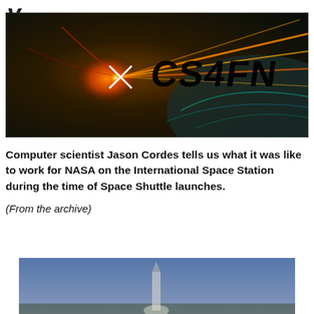[Figure (logo): CS4FN banner/logo image with dark sci-fi background featuring sparks, light streaks and orange energy effects with 'CS4FN' text overlay in bold black letters]
Computer scientist Jason Cordes tells us what it was like to work for NASA on the International Space Station during the time of Space Shuttle launches.
(From the archive)
[Figure (photo): Bottom portion of a photo, appears to show a rocket or space shuttle launch scene against a blue sky, partially cropped]